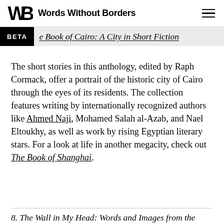Words Without Borders
The Book of Cairo: A City in Short Fiction
The short stories in this anthology, edited by Raph Cormack, offer a portrait of the historic city of Cairo through the eyes of its residents. The collection features writing by internationally recognized authors like Ahmed Naji, Mohamed Salah al-Azab, and Nael Eltoukhy, as well as work by rising Egyptian literary stars. For a look at life in another megacity, check out The Book of Shanghai.
8. The Wall in My Head: Words and Images from the